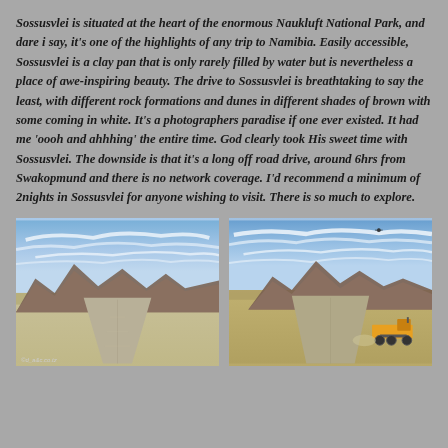Sossusvlei is situated at the heart of the enormous Naukluft National Park, and dare i say, it's one of the highlights of any trip to Namibia. Easily accessible, Sossusvlei is a clay pan that is only rarely filled by water but is nevertheless a place of awe-inspiring beauty. The drive to Sossusvlei is breathtaking to say the least, with different rock formations and dunes in different shades of brown with some coming in white. It's a photographers paradise if one ever existed. It had me 'oooh and ahhhing' the entire time. God clearly took His sweet time with Sossusvlei. The downside is that it's a long off road drive, around 6hrs from Swakopmund and there is no network coverage. I'd recommend a minimum of 2nights in Sossusvlei for anyone wishing to visit. There is so much to explore.
[Figure (photo): Desert road stretching into the distance with rocky brown mountains on the horizon and a wide blue sky with wispy clouds.]
[Figure (photo): Desert road with a road grader/construction vehicle on the right side, rocky brown mountains in background, blue sky with clouds, and a small drone visible in the upper portion of the sky.]